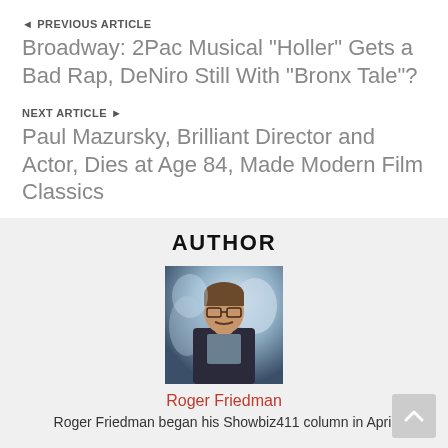◄ PREVIOUS ARTICLE
Broadway: 2Pac Musical "Holler" Gets a Bad Rap, DeNiro Still With "Bronx Tale"?
NEXT ARTICLE ►
Paul Mazursky, Brilliant Director and Actor, Dies at Age 84, Made Modern Film Classics
AUTHOR
[Figure (photo): Portrait photo of Roger Friedman, a man with glasses wearing a dark jacket at what appears to be a social event]
Roger Friedman
Roger Friedman began his Showbiz411 column in April